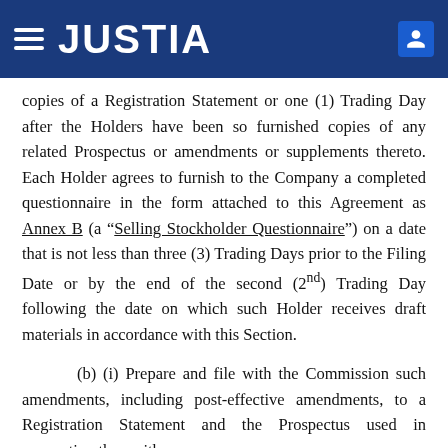JUSTIA
copies of a Registration Statement or one (1) Trading Day after the Holders have been so furnished copies of any related Prospectus or amendments or supplements thereto. Each Holder agrees to furnish to the Company a completed questionnaire in the form attached to this Agreement as Annex B (a “Selling Stockholder Questionnaire”) on a date that is not less than three (3) Trading Days prior to the Filing Date or by the end of the second (2nd) Trading Day following the date on which such Holder receives draft materials in accordance with this Section.
(b) (i) Prepare and file with the Commission such amendments, including post-effective amendments, to a Registration Statement and the Prospectus used in connection therewith as may